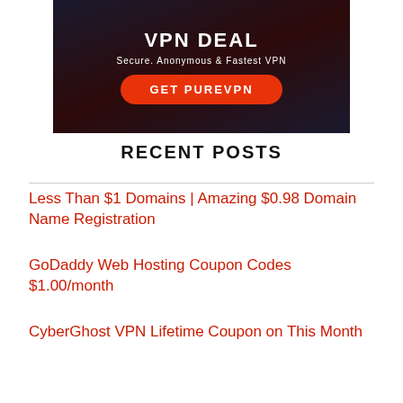[Figure (infographic): Dark-themed VPN advertisement banner with text 'VPN DEAL', 'Secure. Anonymous & Fastest VPN', and a red rounded button labeled 'GET PUREVPN']
RECENT POSTS
Less Than $1 Domains | Amazing $0.98 Domain Name Registration
GoDaddy Web Hosting Coupon Codes $1.00/month
CyberGhost VPN Lifetime Coupon on This Month